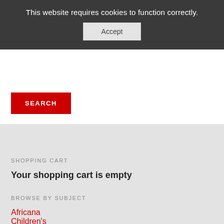This website requires cookies to function correctly.
Accept
SEARCH
SHOPPING CART
Your shopping cart is empty
BROWSE BY SUBJECT
Africana
Children's